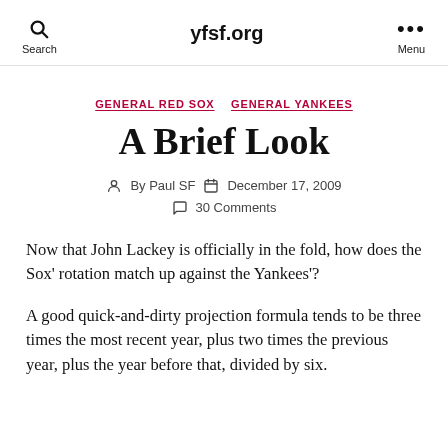Search   yfsf.org   Menu
GENERAL RED SOX   GENERAL YANKEES
A Brief Look
By Paul SF   December 17, 2009   30 Comments
Now that John Lackey is officially in the fold, how does the Sox' rotation match up against the Yankees'?
A good quick-and-dirty projection formula tends to be three times the most recent year, plus two times the previous year, plus the year before that, divided by six.